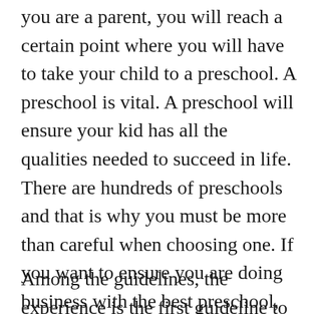you are a parent, you will reach a certain point where you will have to take your child to a preschool. A preschool is vital. A preschool will ensure your kid has all the qualities needed to succeed in life. There are hundreds of preschools and that is why you must be more than careful when choosing one. If you want to ensure you are doing business with the best preschool, you need to look at some things. Therefore, what you need to do is read the information below, and you will get a chance to see the guidelines to follow when choosing a preschool.
Among the guidelines, the experience is the first guideline to follow when choosing a preschool. If